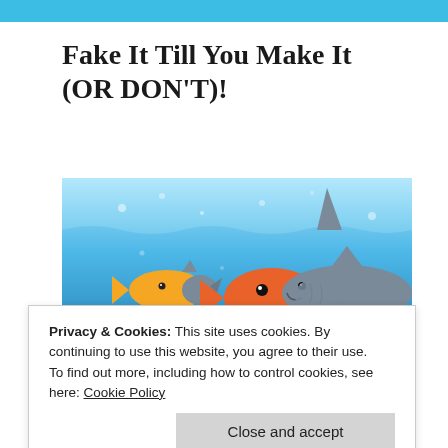Fake It Till You Make It (OR DON'T)!
[Figure (photo): Two goldfish wearing shark disguises and one large toy shark swimming in water, illustrating the concept of 'fake it till you make it'.]
Privacy & Cookies: This site uses cookies. By continuing to use this website, you agree to their use.
To find out more, including how to control cookies, see here: Cookie Policy
Close and accept
this is the biggest load of crap I've ever experienced.